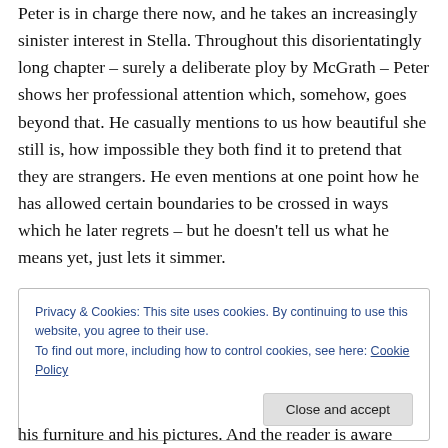Peter is in charge there now, and he takes an increasingly sinister interest in Stella. Throughout this disorientatingly long chapter – surely a deliberate ploy by McGrath – Peter shows her professional attention which, somehow, goes beyond that. He casually mentions to us how beautiful she still is, how impossible they both find it to pretend that they are strangers. He even mentions at one point how he has allowed certain boundaries to be crossed in ways which he later regrets – but he doesn't tell us what he means yet, just lets it simmer.
Privacy & Cookies: This site uses cookies. By continuing to use this website, you agree to their use.
To find out more, including how to control cookies, see here: Cookie Policy
Close and accept
his furniture and his pictures. And the reader is aware